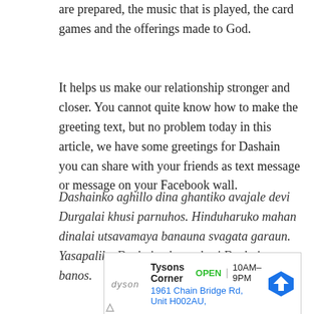are prepared, the music that is played, the card games and the offerings made to God.
It helps us make our relationship stronger and closer. You cannot quite know how to make the greeting text, but no problem today in this article, we have some greetings for Dashain you can share with your friends as text message or message on your Facebook wall.
Dashainko aghillo dina ghantiko avajale devi Durgalai khusi parnuhos. Hinduharuko mahan dinalai utsavamaya banauna svagata garaun. Yasapaliko Dashain chamatkari Dashain banos.
[Figure (other): Advertisement for Dyson Tysons Corner store: OPEN 10AM-9PM, 1961 Chain Bridge Rd, Unit H002AU, with a navigation/directions icon.]